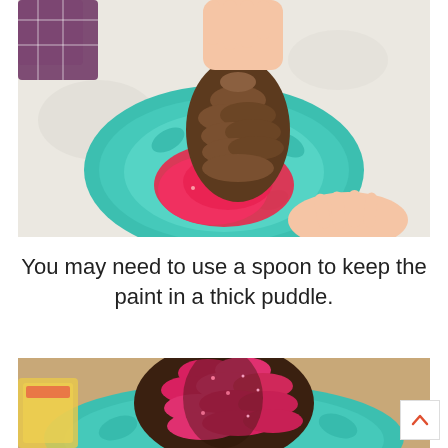[Figure (photo): Child's hands dipping a pine cone into a puddle of red/pink glittery paint on a teal decorative paper plate on a white tablecloth.]
You may need to use a spoon to keep the paint in a thick puddle.
[Figure (photo): Close-up of a pine cone coated in bright pink/red glittery paint sitting on a teal plate.]